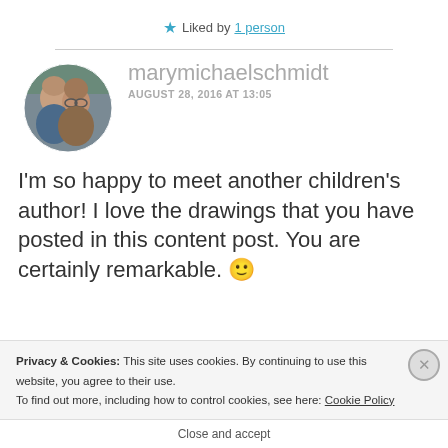★ Liked by 1 person
marymichaelschmidt
AUGUST 28, 2016 AT 13:05
[Figure (photo): Circular avatar photo of a couple, man and woman outdoors]
I'm so happy to meet another children's author! I love the drawings that you have posted in this content post. You are certainly remarkable. 🙂
Privacy & Cookies: This site uses cookies. By continuing to use this website, you agree to their use.
To find out more, including how to control cookies, see here: Cookie Policy
Close and accept